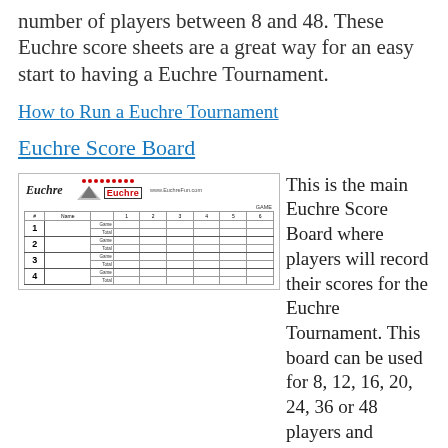number of players between 8 and 48. These Euchre score sheets are a great way for an easy start to having a Euchre Tournament.
How to Run a Euchre Tournament
Euchre Score Board
[Figure (screenshot): A Euchre Score Board image showing a table with player rows numbered 1-4, columns for Name, Game and Total scores across 6 games, with Euchre logo and website at top.]
This is the main Euchre Score Board where players will record their scores for the Euchre Tournament. This board can be used for 8, 12, 16, 20, 24, 36 or 48 players and